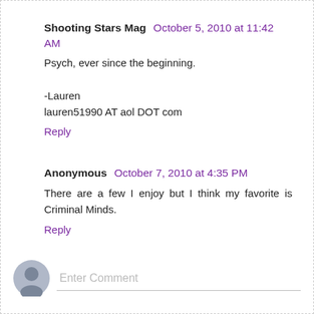Shooting Stars Mag  October 5, 2010 at 11:42 AM
Psych, ever since the beginning.

-Lauren
lauren51990 AT aol DOT com
Reply
Anonymous  October 7, 2010 at 4:35 PM
There are a few I enjoy but I think my favorite is Criminal Minds.
Reply